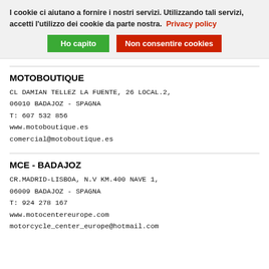I cookie ci aiutano a fornire i nostri servizi. Utilizzando tali servizi, accetti l'utilizzo dei cookie da parte nostra. Privacy policy
Ho capito | Non consentire cookies
MOTOBOUTIQUE
CL DAMIAN TELLEZ LA FUENTE, 26 LOCAL.2, 06010 BADAJOZ - SPAGNA
T: 607 532 856
www.motoboutique.es
comercial@motoboutique.es
MCE - BADAJOZ
CR.MADRID-LISBOA, N.V KM.400 NAVE 1, 06009 BADAJOZ - SPAGNA
T: 924 278 167
www.motocentereurope.com
motorcycle_center_europe@hotmail.com